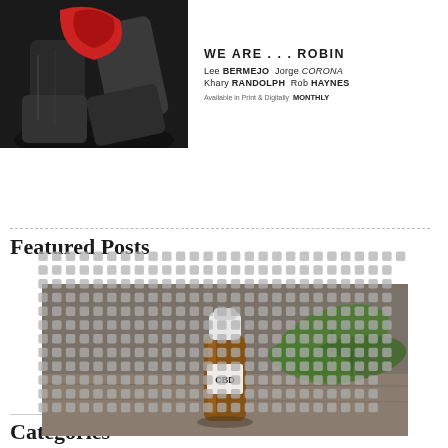[Figure (illustration): Comic book advertisement for 'WE ARE...ROBIN' featuring a black and white image of a person's legs/boots with a red element. Creators listed: Lee BERMEJO, Jorge CORONA, Khary RANDOLPH, Rob HAYNES. Available in Print & Digitally MONTHLY.]
Featured Posts
[Figure (photo): Photo of a dropper bottle labeled 'CBD' with a cannabis leaf, placed on a wooden surface. Overlaid with a grey dot/square grid pattern.]
Categories